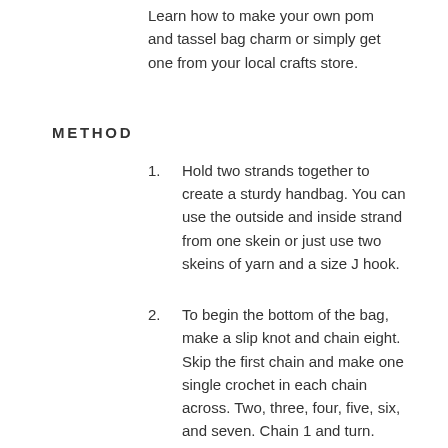Learn how to make your own pom and tassel bag charm or simply get one from your local crafts store.
METHOD
1. Hold two strands together to create a sturdy handbag. You can use the outside and inside strand from one skein or just use two skeins of yarn and a size J hook.
2. To begin the bottom of the bag, make a slip knot and chain eight. Skip the first chain and make one single crochet in each chain across. Two, three, four, five, six, and seven. Chain 1 and turn.
3. Make one single crochet in each stitch across Two, three, four, five, six, and